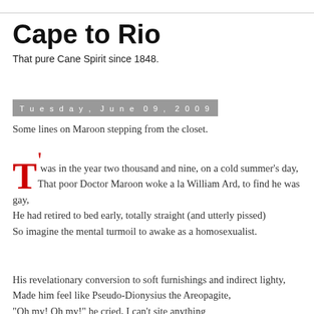Cape to Rio
That pure Cane Spirit since 1848.
Tuesday, June 09, 2009
Some lines on Maroon stepping from the closet.
‘Twas in the year two thousand and nine, on a cold summer’s day,
That poor Doctor Maroon woke a la William Ard, to find he was gay,
He had retired to bed early, totally straight (and utterly pissed)
So imagine the mental turmoil to awake as a homosexualist.
His revelationary conversion to soft furnishings and indirect lighty,
Made him feel like Pseudo-Dionysius the Areopagite,
“Oh my! Oh my!” he cried, I can’t site anything